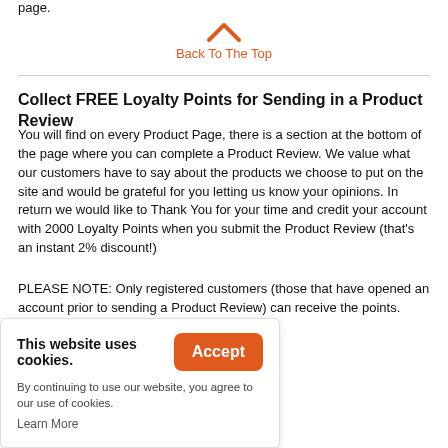page.
Back To The Top
Collect FREE Loyalty Points for Sending in a Product Review
You will find on every Product Page, there is a section at the bottom of the page where you can complete a Product Review. We value what our customers have to say about the products we choose to put on the site and would be grateful for you letting us know your opinions. In return we would like to Thank You for your time and credit your account with 2000 Loyalty Points when you submit the Product Review (that's an instant 2% discount!)
PLEASE NOTE: Only registered customers (those that have opened an account prior to sending a Product Review) can receive the points. even if you are not a
This website uses cookies. By continuing to use our website, you agree to our use of cookies. Accept Learn More